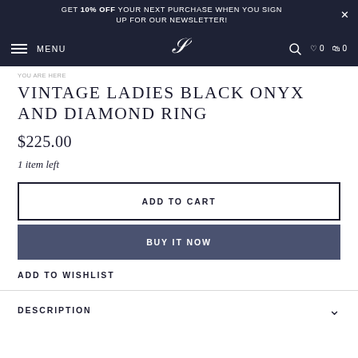GET 10% OFF YOUR NEXT PURCHASE WHEN YOU SIGN UP FOR OUR NEWSLETTER!
MENU [logo] search wishlist 0 cart 0
VINTAGE LADIES BLACK ONYX AND DIAMOND RING
$225.00
1 item left
ADD TO CART
BUY IT NOW
ADD TO WISHLIST
DESCRIPTION